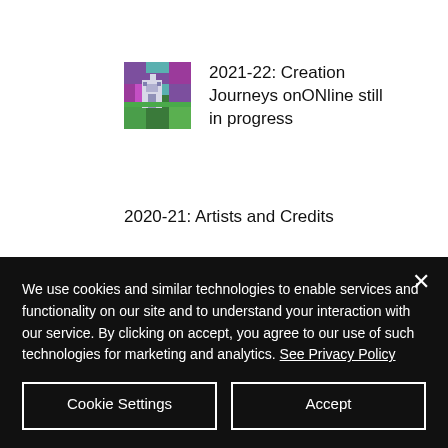[Figure (illustration): Small pixel-art style thumbnail image showing a colorful pixelated scene with purple, green, and teal colors]
2021-22: Creation Journeys onONline still in progress
2020-21: Artists and Credits
We use cookies and similar technologies to enable services and functionality on our site and to understand your interaction with our service. By clicking on accept, you agree to our use of such technologies for marketing and analytics. See Privacy Policy
Cookie Settings
Accept